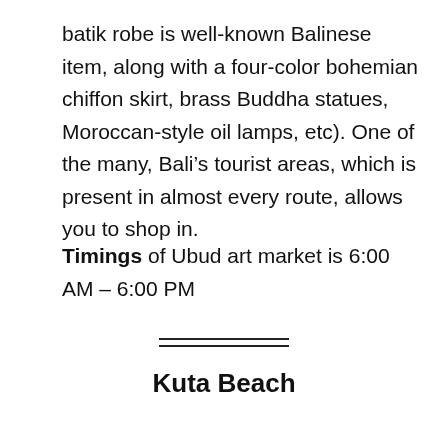batik robe is well-known Balinese item, along with a four-color bohemian chiffon skirt, brass Buddha statues, Moroccan-style oil lamps, etc). One of the many, Bali’s tourist areas, which is present in almost every route, allows you to shop in.
Timings of Ubud art market is 6:00 AM – 6:00 PM
Kuta Beach